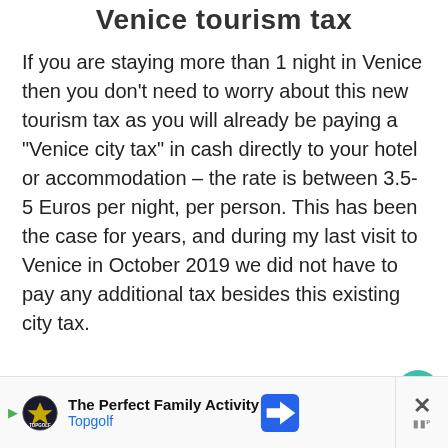Venice tourism tax
If you are staying more than 1 night in Venice then you don't need to worry about this new tourism tax as you will already be paying a "Venice city tax" in cash directly to your hotel or accommodation – the rate is between 3.5-5 Euros per night, per person. This has been the case for years, and during my last visit to Venice in October 2019 we did not have to pay any additional tax besides this existing city tax.
[Figure (other): Heart/favorite floating button (teal circle with heart icon)]
[Figure (other): Share floating button (white circle with share icon)]
[Figure (other): Advertisement banner: The Perfect Family Activity - Topgolf, with navigation arrow icon and close button]